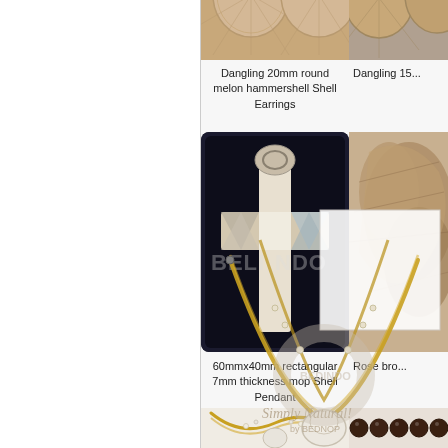[Figure (photo): Partial top view of round shell earrings - hammershell]
[Figure (photo): Partial top view of another dangling shell earring product (cut off at right)]
Dangling 20mm round melon hammershell Shell Earrings
Dangling 15...
[Figure (photo): 60mmx40mm rectangular shell pendant shaped as cross in black velvet box, with BELINDO watermark]
[Figure (photo): Rose bro... (cut off) - brown/wood toned item]
60mmx40mm rectangular 7mm thickness mop Shell Pendant
Rose bro...
[Figure (photo): Gold macrame necklace with white shell pendant and small white beads, Simply Natural watermark]
[Figure (photo): Dark wood beaded necklace or bracelet (right column, partially visible)]